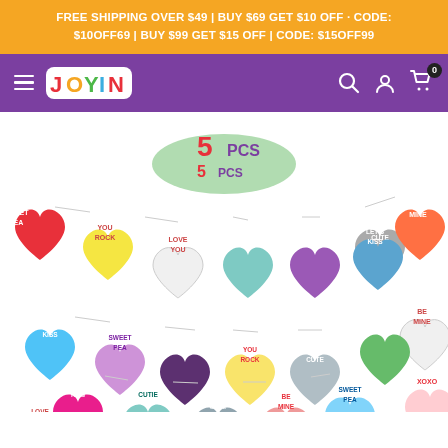FREE SHIPPING OVER $49 | BUY $69 GET $10 OFF · CODE: $10OFF69 | BUY $99 GET $15 OFF | CODE: $15OFF99
[Figure (screenshot): Joyin store navigation bar with purple background, hamburger menu, Joyin logo, search icon, account icon, and cart icon with 0 badge]
[Figure (photo): Product photo showing 5 strands of colorful conversation heart banners with messages: SWEET PEA, YOU ROCK, LOVE YOU, CUTIE, XOXO, U R CUTE, LET'S KISS, BE MINE on multi-colored hearts. Badge shows 5 PCS.]